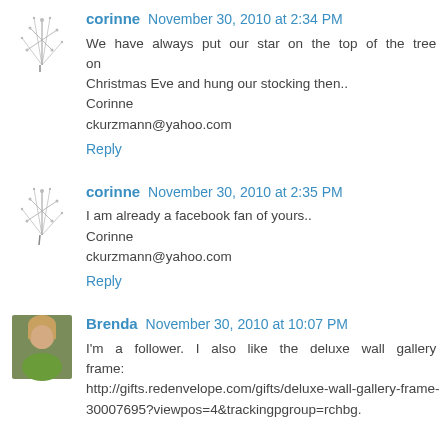corinne November 30, 2010 at 2:34 PM
We have always put our star on the top of the tree on Christmas Eve and hung our stocking then..
Corinne
ckurzmann@yahoo.com
Reply
corinne November 30, 2010 at 2:35 PM
I am already a facebook fan of yours..
Corinne
ckurzmann@yahoo.com
Reply
Brenda November 30, 2010 at 10:07 PM
I'm a follower. I also like the deluxe wall gallery frame: http://gifts.redenvelope.com/gifts/deluxe-wall-gallery-frame-30007695?viewpos=4&trackingpgroup=rchbg.